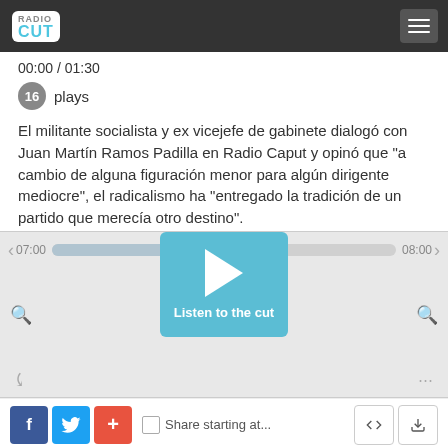Radio Cut
00:00 / 01:30
16 plays
El militante socialista y ex vicejefe de gabinete dialogó con Juan Martín Ramos Padilla en Radio Caput y opinó que "a cambio de alguna figuración menor para algún dirigente mediocre", el radicalismo ha "entregado la tradición de un partido que merecía otro destino".
[Figure (screenshot): Audio player with timeline, play button and controls showing 07:00 to 08:00 range with 'Listen to the cut' label]
Share starting at...
Tags: oscar gonzález  radicalismo  socialismo  ucr